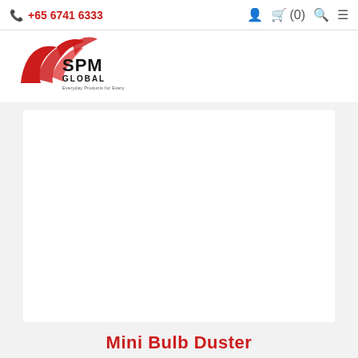+65 6741 6333
[Figure (logo): SPM Global company logo with red swoosh/bird graphic and black text 'SPM' with 'GLOBAL' in smaller caps]
[Figure (photo): Product image area for Mini Bulb Duster — white rectangle on light grey background (image content not visible)]
Mini Bulb Duster